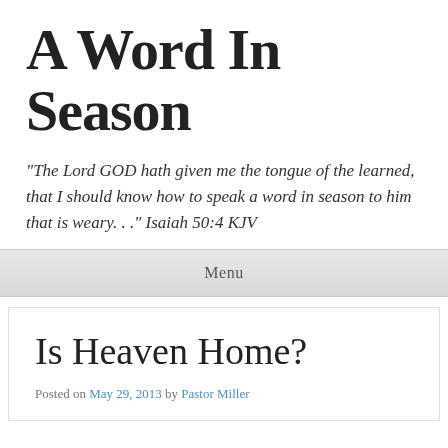A Word In Season
"The Lord GOD hath given me the tongue of the learned, that I should know how to speak a word in season to him that is weary. . ." Isaiah 50:4 KJV
Menu
Is Heaven Home?
Posted on May 29, 2013 by Pastor Miller